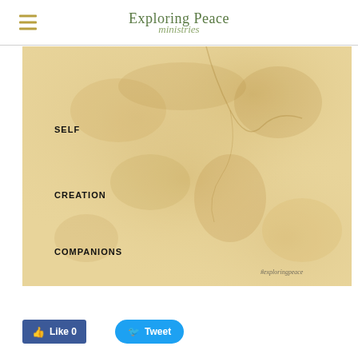Exploring Peace ministries
[Figure (illustration): Parchment/aged paper textured background image with bold uppercase labels: SELF (upper left area), CREATION (middle left area), COMPANIONS (lower left area), and #exploringpeace watermark text in lower right corner]
Like 0
Tweet